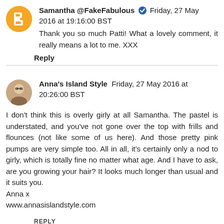Samantha @FakeFabulous ✔ Friday, 27 May 2016 at 19:16:00 BST
Thank you so much Patti! What a lovely comment, it really means a lot to me. XXX
Reply
Anna's Island Style  Friday, 27 May 2016 at 20:26:00 BST
I don't think this is overly girly at all Samantha. The pastel is understated, and you've not gone over the top with frills and flounces (not like some of us here). And those pretty pink pumps are very simple too. All in all, it's certainly only a nod to girly, which is totally fine no matter what age. And I have to ask, are you growing your hair? It looks much longer than usual and it suits you.
Anna x
www.annasislandstyle.com
REPLY